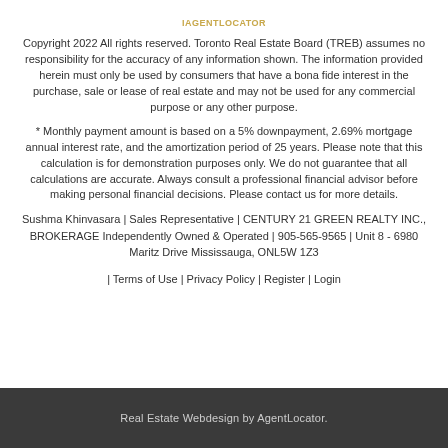IAGENTLOCATOR
Copyright 2022 All rights reserved. Toronto Real Estate Board (TREB) assumes no responsibility for the accuracy of any information shown. The information provided herein must only be used by consumers that have a bona fide interest in the purchase, sale or lease of real estate and may not be used for any commercial purpose or any other purpose.
* Monthly payment amount is based on a 5% downpayment, 2.69% mortgage annual interest rate, and the amortization period of 25 years. Please note that this calculation is for demonstration purposes only. We do not guarantee that all calculations are accurate. Always consult a professional financial advisor before making personal financial decisions. Please contact us for more details.
Sushma Khinvasara | Sales Representative | CENTURY 21 GREEN REALTY INC., BROKERAGE Independently Owned & Operated | 905-565-9565 | Unit 8 - 6980 Maritz Drive Mississauga, ONL5W 1Z3
| Terms of Use | Privacy Policy | Register | Login
Real Estate Webdesign by AgentLocator.